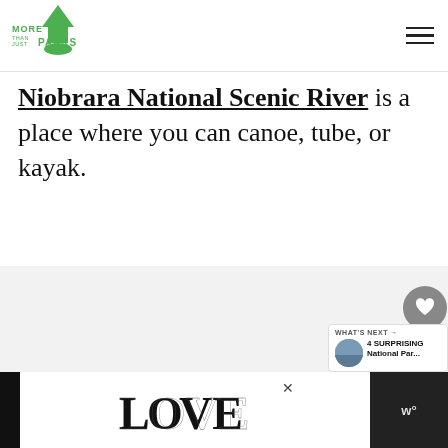More Than Just Parks
Niobrara National Scenic River is a place where you can canoe, tube, or kayak.
[Figure (screenshot): Gray content area with side buttons (heart/like button showing 5, share button) and a 'What's Next' panel showing '4 SURPRISING National Par...']
[Figure (screenshot): Advertisement banner at bottom showing decorative 'LOVE' text with ornate lettering, close button, and dark side panel with 'w°' logo]